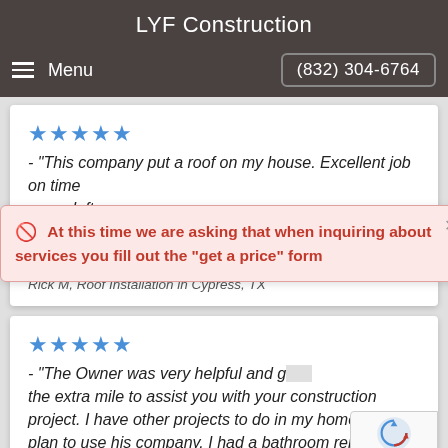LYF Construction
Menu   (832) 304-6764
★★★★★ - "This company put a roof on my house. Excellent job on time never left a mess."
Rick M, Roof Installation in Cypress, TX
🚨 At this time we are asking that when inquiring about services you fill out the "get a price" form
★★★★★ - "The Owner was very helpful and goes the extra mile to assist you with your construction project. I have other projects to do in my home and plan to use his company. I had a bathroom remodel..."